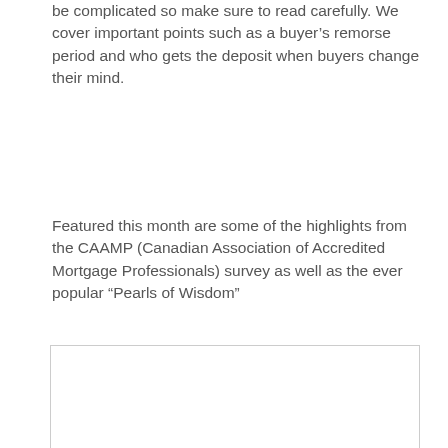be complicated so make sure to read carefully. We cover important points such as a buyer's remorse period and who gets the deposit when buyers change their mind.
Featured this month are some of the highlights from the CAAMP (Canadian Association of Accredited Mortgage Professionals) survey as well as the ever popular “Pearls of Wisdom”
[Figure (other): A blank rectangular box with a thin gray border, likely a placeholder image or advertisement area.]